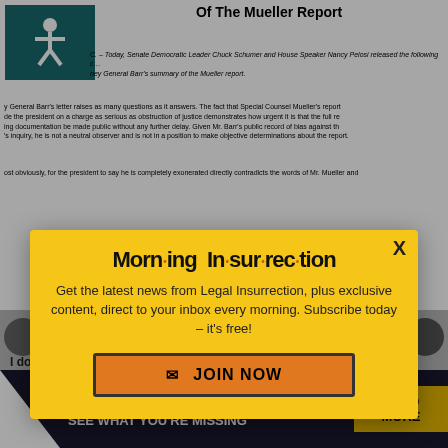Of The Mueller Report
Today, Senate Democratic Leader Chuck Schumer and House Speaker Nancy Pelosi released the following … ney General Barr's summary of the Mueller report.
y General Barr's letter raises as many questions as it answers. The fact that Special Counsel Mueller's report … de the president on a charge as serious as obstruction of justice demonstrates how urgent it is that the full re … ing documentation be made public without any further delay. Given Mr. Barr's public record of bias against th … 's inquiry, he is not a neutral observer and is not in a position to make objective determinations about the report.
ost obviously, for the president to say he is completely exonerated directly contradicts the words of Mr. Mueller and …
[Figure (screenshot): Morning Insurrection newsletter subscription modal overlay on article page]
@BernieSanders · Fo...
I don't... the full Mueller report…
[Figure (infographic): THE PERSPECTIVE - SEE WHAT YOU'RE MISSING advertisement banner at bottom of page with READ MORE button]